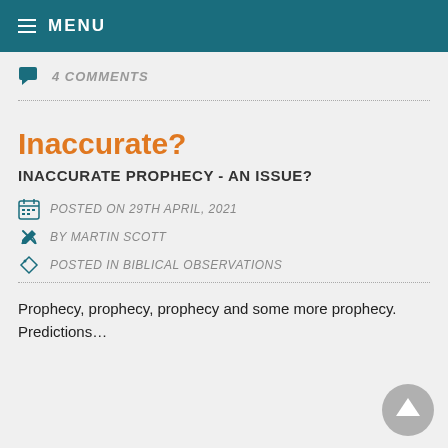MENU
4 COMMENTS
Inaccurate?
INACCURATE PROPHECY - AN ISSUE?
POSTED ON 29TH APRIL, 2021
BY MARTIN SCOTT
POSTED IN BIBLICAL OBSERVATIONS
Prophecy, prophecy, prophecy and some more prophecy. Predictions…